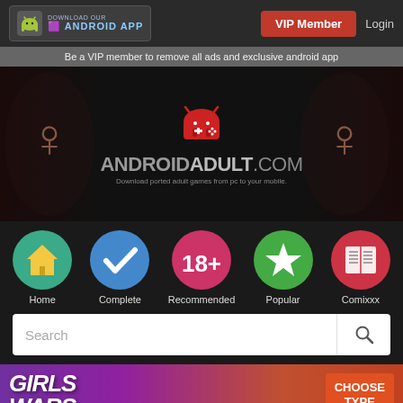DOWNLOAD OUR ANDROID APP | VIP Member | Login
Be a VIP member to remove all ads and exclusive android app
[Figure (logo): AndroidAdult.com logo with red Android robot holding game controller, anime character illustrations on sides, tagline: Download ported adult games from pc to your mobile.]
[Figure (infographic): Navigation icons: Home (teal house icon), Complete (blue checkmark), Recommended (pink 18+), Popular (green star), Comixxx (red book)]
Home  Complete  Recommended  Popular  Comixxx
[Figure (screenshot): Search bar with placeholder text 'Search' and magnifying glass icon]
[Figure (illustration): Girls Wars game banner with anime characters and CHOOSE TYPE button]